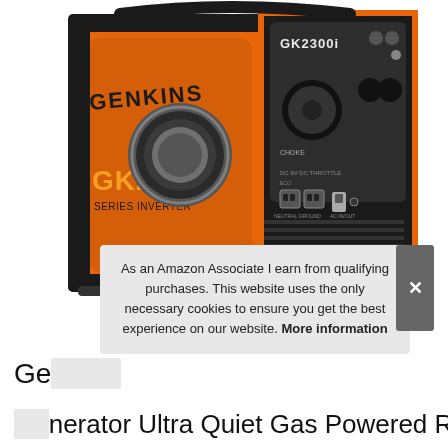[Figure (photo): Photo of a Genkins GK2300 portable inverter generator in orange and black, shown from a front-left angle displaying the control panel with outlets and switches on the right side.]
As an Amazon Associate I earn from qualifying purchases. This website uses the only necessary cookies to ensure you get the best experience on our website. More information
Generator Ultra Quiet Gas Powered RV